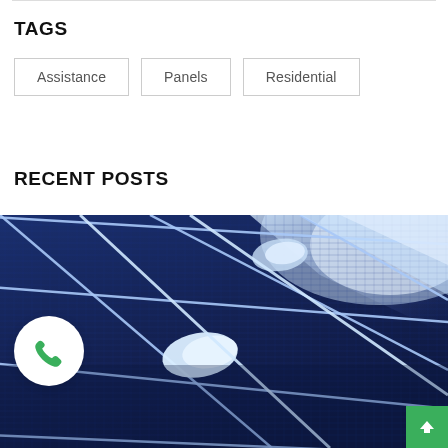TAGS
Assistance
Panels
Residential
RECENT POSTS
[Figure (photo): Close-up photograph of blue solar panels with white cell grid lines, showing photovoltaic cells in detail with bright light reflections]